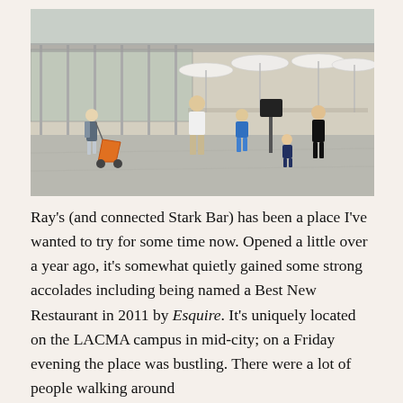[Figure (photo): Outdoor plaza of a restaurant or café at a museum campus (LACMA). People are walking around the paved plaza. A man in a white shirt walks with two children, a woman pushes an orange stroller, and others dine under large white umbrella canopies in the background near a modern glass building.]
Ray's (and connected Stark Bar) has been a place I've wanted to try for some time now. Opened a little over a year ago, it's somewhat quietly gained some strong accolades including being named a Best New Restaurant in 2011 by Esquire. It's uniquely located on the LACMA campus in mid-city; on a Friday evening the place was bustling. There were a lot of people walking around